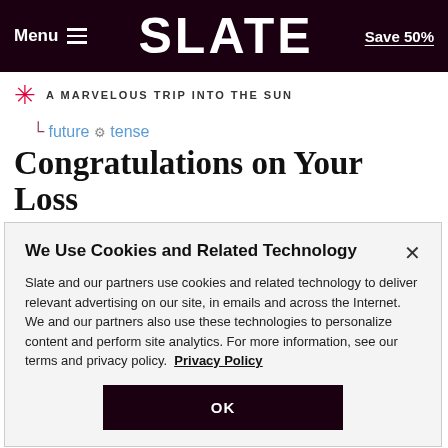Menu   SLATE   Save 50%
A MARVELOUS TRIP INTO THE SUN
future tense
Congratulations on Your Loss
A new short story by the author of Pew, The Answers, and Nobody Is Ever Missing
We Use Cookies and Related Technology
Slate and our partners use cookies and related technology to deliver relevant advertising on our site, in emails and across the Internet. We and our partners also use these technologies to personalize content and perform site analytics. For more information, see our terms and privacy policy.  Privacy Policy
OK